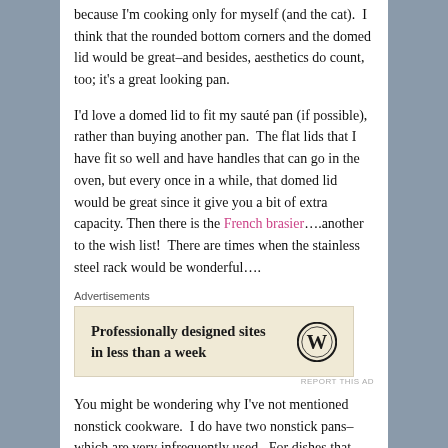because I'm cooking only for myself (and the cat).  I think that the rounded bottom corners and the domed lid would be great–and besides, aesthetics do count, too; it's a great looking pan.
I'd love a domed lid to fit my sauté pan (if possible), rather than buying another pan.  The flat lids that I have fit so well and have handles that can go in the oven, but every once in a while, that domed lid would be great since it give you a bit of extra capacity. Then there is the French brasier….another to the wish list!  There are times when the stainless steel rack would be wonderful….
[Figure (other): Advertisement box with text 'Professionally designed sites in less than a week' and WordPress logo, on a cream/beige background. Labeled 'Advertisements' above.]
You might be wondering why I've not mentioned nonstick cookware.  I do have two nonstick pans–which are very infrequently used.  For dishes that may go stove-top to broiler, I'd be concerned about the temperature effect on